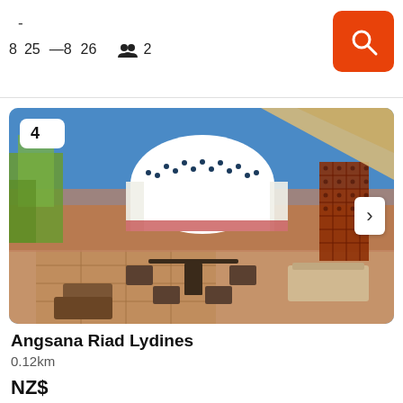- 8 25 — 8 26  👥 2
[Figure (photo): Rooftop terrace of Angsana Riad Lydines hotel in Marrakech showing outdoor seating, lattice privacy screens, white dome structure, and blue sky. Number badge '4' in top left corner.]
Angsana Riad Lydines
0.12km
NZ$...